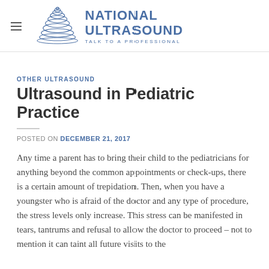NATIONAL ULTRASOUND — TALK TO A PROFESSIONAL
OTHER ULTRASOUND
Ultrasound in Pediatric Practice
POSTED ON DECEMBER 21, 2017
Any time a parent has to bring their child to the pediatricians for anything beyond the common appointments or check-ups, there is a certain amount of trepidation. Then, when you have a youngster who is afraid of the doctor and any type of procedure, the stress levels only increase. This stress can be manifested in tears, tantrums and refusal to allow the doctor to proceed – not to mention it can taint all future visits to the